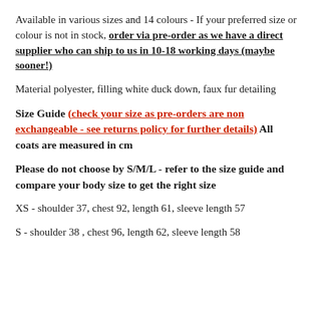Available in various sizes and 14 colours - If your preferred size or colour is not in stock, order via pre-order as we have a direct supplier who can ship to us in 10-18 working days (maybe sooner!)
Material polyester, filling white duck down, faux fur detailing
Size Guide (check your size as pre-orders are non exchangeable - see returns policy for further details) All coats are measured in cm
Please do not choose by S/M/L - refer to the size guide and compare your body size to get the right size
XS - shoulder 37, chest 92, length 61, sleeve length 57
S - shoulder 38 , chest 96, length 62, sleeve length 58